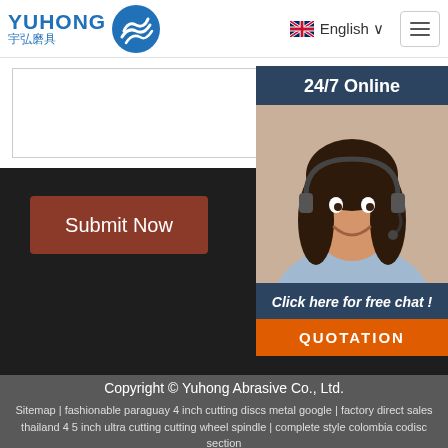[Figure (logo): Yuhong Abrasive company logo with blue wave icon and Chinese text 宇弘磨具]
English ∨
[Figure (screenshot): White form area (partially visible)]
Submit Now
[Figure (photo): 24/7 Online support panel with photo of woman wearing headset and text 'Click here for free chat!']
QUOTATION
Copyright © Yuhong Abrasive Co., Ltd.
Sitemap | fashionable paraguay 4 inch cutting discs metal google | factory direct sales thailand 4 5 inch ultra cutting cutting wheel spindle | complete style colombia codisc section